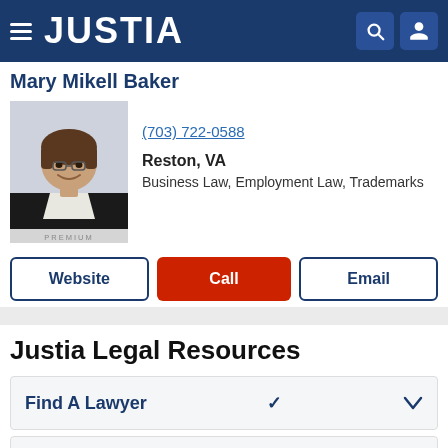JUSTIA
Mary Mikell Baker
[Figure (photo): Professional headshot photo of Mary Mikell Baker with PREMIUM label below]
(703) 722-0588
Reston, VA
Business Law, Employment Law, Trademarks
Website
Call
Email
Justia Legal Resources
Find A Lawyer
Individuals
Business